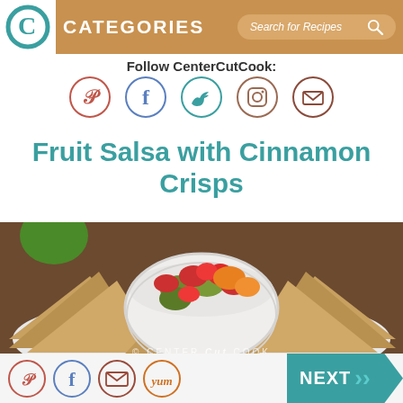CATEGORIES  Search for Recipes
Follow CenterCutCook:
[Figure (illustration): Five social media icon circles: Pinterest (red/orange), Facebook (blue), Twitter (teal), Instagram (brown), Email (dark brown/red)]
Fruit Salsa with Cinnamon Crisps
[Figure (photo): A white bowl filled with colorful fruit salsa (strawberries, kiwi, oranges) surrounded by cinnamon crisps on a plate. Watermark reads CENTER CUT COOK.]
[Figure (illustration): Bottom social share buttons: Pinterest (orange), Facebook (blue), Email (brown/red), Yum (orange). NEXT button in teal on the right.]